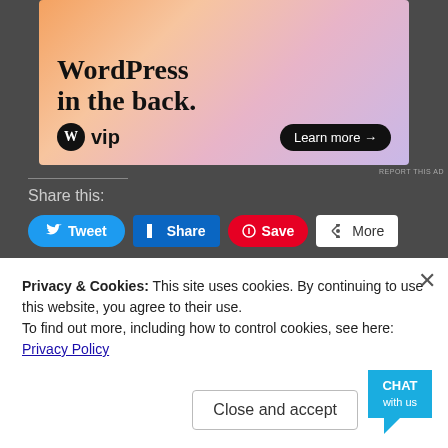[Figure (screenshot): WordPress VIP advertisement banner with text 'WordPress in the back.' and a 'Learn more' button on a peach/purple gradient background]
Share this:
[Figure (screenshot): Social share buttons: Tweet (blue), Share (LinkedIn blue), Save (Pinterest red), More (white)]
Like this:
Loading...
Privacy & Cookies: This site uses cookies. By continuing to use this website, you agree to their use.
To find out more, including how to control cookies, see here:
Privacy Policy
Close and accept